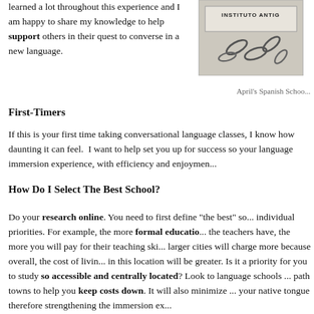learned a lot throughout this experience and I am happy to share my knowledge to help support others in their quest to converse in a new language.
[Figure (photo): Photo of April's Spanish School sign reading INSTITUTO ANTIG... with paperclips or metal objects visible]
April's Spanish Schoo...
First-Timers
If this is your first time taking conversational language classes, I know how daunting it can feel. I want to help set you up for success so your language immersion experience, with efficiency and enjoymen...
How Do I Select The Best School?
Do your research online. You need to first define "the best" so... individual priorities. For example, the more formal educatio... the teachers have, the more you will pay for their teaching ski... larger cities will charge more because overall, the cost of livin... in this location will be greater. Is it a priority for you to study so accessible and centrally located? Look to language schools ... path towns to help you keep costs down. It will also minimize ... your native tongue therefore strengthening the immersion ex...